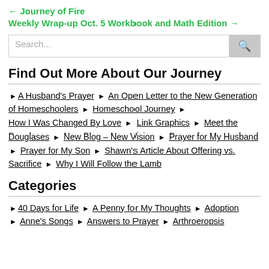← Journey of Fire
Weekly Wrap-up Oct. 5 Workbook and Math Edition →
[Figure (other): Search input box with search button]
Find Out More About Our Journey
▶ A Husband's Prayer ▶ An Open Letter to the New Generation of Homeschoolers ▶ Homeschool Journey ▶ How I Was Changed By Love ▶ Link Graphics ▶ Meet the Douglases ▶ New Blog – New Vision ▶ Prayer for My Husband ▶ Prayer for My Son ▶ Shawn's Article About Offering vs. Sacrifice ▶ Why I Will Follow the Lamb
Categories
▶ 40 Days for Life ▶ A Penny for My Thoughts ▶ Adoption ▶ Anne's Songs ▶ Answers to Prayer ▶ Arthroeropsis